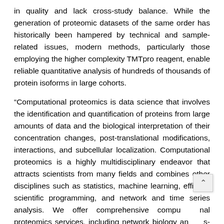in quality and lack cross-study balance. While the generation of proteomic datasets of the same order has historically been hampered by technical and sample-related issues, modern methods, particularly those employing the higher complexity TMTpro reagent, enable reliable quantitative analysis of hundreds of thousands of protein isoforms in large cohorts.
“Computational proteomics is data science that involves the identification and quantification of proteins from large amounts of data and the biological interpretation of their concentration changes, post-translational modifications, interactions, and subcellular localization. Computational proteomics is a highly multidisciplinary endeavor that attracts scientists from many fields and combines other disciplines such as statistics, machine learning, efficient scientific programming, and network and time series analysis. We offer comprehensive computational proteomics services, including network biology and -omics data analysis,” commented the project manager of